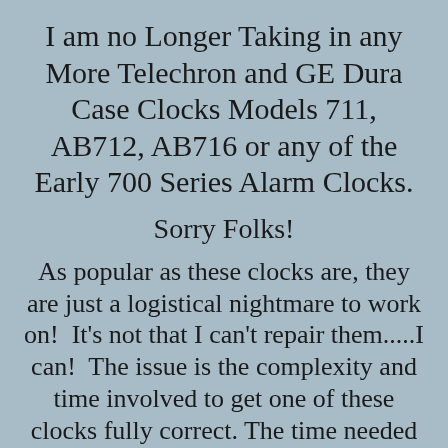I am no Longer Taking in any More Telechron and GE Dura Case Clocks Models 711, AB712, AB716 or any of the Early 700 Series Alarm Clocks.
Sorry Folks!
As popular as these clocks are, they are just a logistical nightmare to work on!  It's not that I can't repair them.....I can!  The issue is the complexity and time involved to get one of these clocks fully correct. The time needed to complete one of